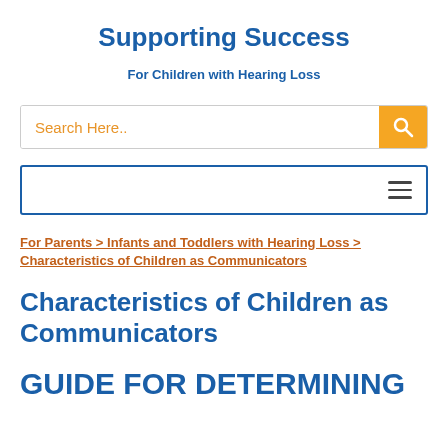Supporting Success
For Children with Hearing Loss
[Figure (screenshot): Search bar with orange search button containing a magnifying glass icon, placeholder text 'Search Here..']
[Figure (screenshot): Navigation bar with hamburger menu icon (three horizontal lines) and blue border]
For Parents > Infants and Toddlers with Hearing Loss > Characteristics of Children as Communicators
Characteristics of Children as Communicators
GUIDE FOR DETERMINING